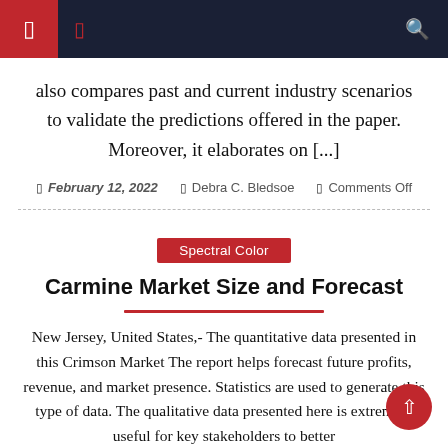also compares past and current industry scenarios to validate the predictions offered in the paper. Moreover, it elaborates on [...]
February 12, 2022  Debra C. Bledsoe  Comments Off
Spectral Color
Carmine Market Size and Forecast
New Jersey, United States,- The quantitative data presented in this Crimson Market The report helps forecast future profits, revenue, and market presence. Statistics are used to generate this type of data. The qualitative data presented here is extremely useful for key stakeholders to better